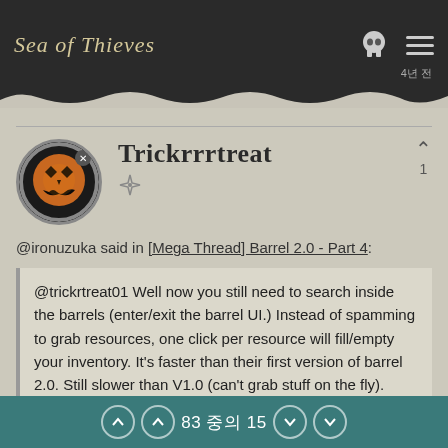Sea of Thieves
Trickrrrtreat
@ironuzuka said in [Mega Thread] Barrel 2.0 - Part 4:
@trickrtreat01 Well now you still need to search inside the barrels (enter/exit the barrel UI.) Instead of spamming to grab resources, one click per resource will fill/empty your inventory. It's faster than their first version of barrel 2.0. Still slower than V1.0 (can't grab stuff on the fly).
83 중의 15